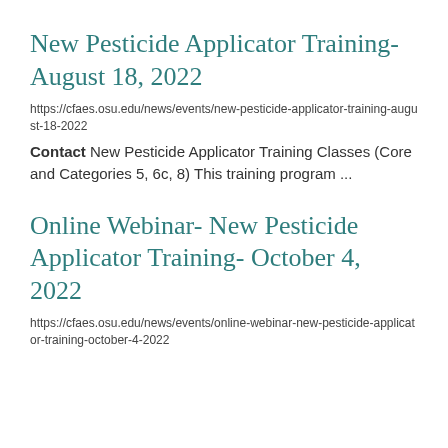New Pesticide Applicator Training- August 18, 2022
https://cfaes.osu.edu/news/events/new-pesticide-applicator-training-august-18-2022
Contact New Pesticide Applicator Training Classes (Core and Categories 5, 6c, 8) This training program ...
Online Webinar- New Pesticide Applicator Training- October 4, 2022
https://cfaes.osu.edu/news/events/online-webinar-new-pesticide-applicator-training-october-4-2022